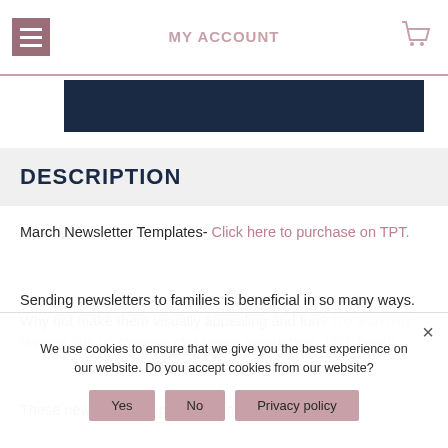MY ACCOUNT
[Figure (screenshot): Dark navy navigation bar image]
DESCRIPTION
March Newsletter Templates- Click here to purchase on TPT.
Sending newsletters to families is beneficial in so many ways. Why not make them visually appealing and fun? (To learn my favorite tips on creating classroom newsletters, click here!)
These newsletter templates are also editable, so
We use cookies to ensure that we give you the best experience on our website. Do you accept cookies from our website?